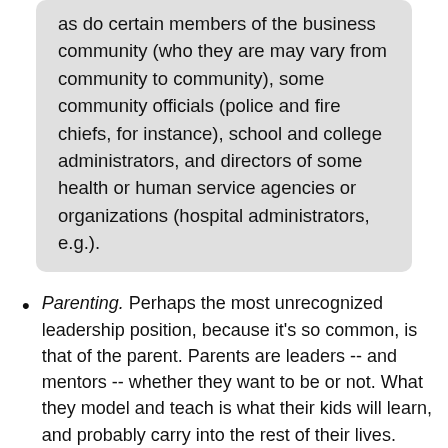as do certain members of the business community (who they are may vary from community to community), some community officials (police and fire chiefs, for instance), school and college administrators, and directors of some health or human service agencies or organizations (hospital administrators, e.g.).
Parenting. Perhaps the most unrecognized leadership position, because it's so common, is that of the parent. Parents are leaders -- and mentors -- whether they want to be or not. What they model and teach is what their kids will learn, and probably carry into the rest of their lives. Good parents are likely to be the children of good parents, just as abusive parents are often themselves victims of abusive parents. It is ironic that the most widespread and important leadership role in the society is seldom acknowledged as such.
Parenting-related experiences. Parenting often leads